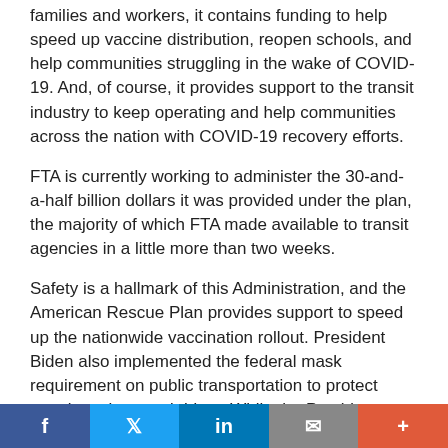families and workers, it contains funding to help speed up vaccine distribution, reopen schools, and help communities struggling in the wake of COVID-19. And, of course, it provides support to the transit industry to keep operating and help communities across the nation with COVID-19 recovery efforts.
FTA is currently working to administer the 30-and-a-half billion dollars it was provided under the plan, the majority of which FTA made available to transit agencies in a little more than two weeks.
Safety is a hallmark of this Administration, and the American Rescue Plan provides support to speed up the nationwide vaccination rollout. President Biden also implemented the federal mask requirement on public transportation to protect transit workers and riders. While the President announced last week that fully vaccinated people can resume most indoor and outdoor activities without wearing a mask, the CDC and TSA still require everyone to wear
f  𝕏  in  ✉  +